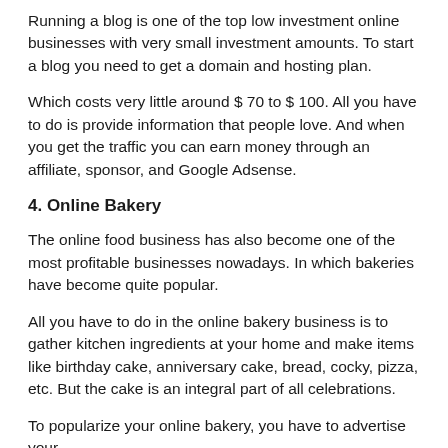Running a blog is one of the top low investment online businesses with very small investment amounts. To start a blog you need to get a domain and hosting plan.
Which costs very little around $ 70 to $ 100. All you have to do is provide information that people love. And when you get the traffic you can earn money through an affiliate, sponsor, and Google Adsense.
4. Online Bakery
The online food business has also become one of the most profitable businesses nowadays. In which bakeries have become quite popular.
All you have to do in the online bakery business is to gather kitchen ingredients at your home and make items like birthday cake, anniversary cake, bread, cocky, pizza, etc. But the cake is an integral part of all celebrations.
To popularize your online bakery, you have to advertise your